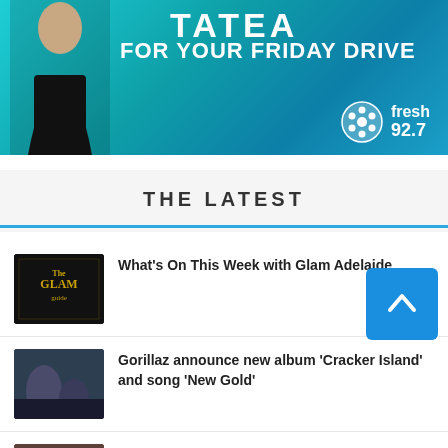[Figure (photo): Fresh 92.7 radio station banner featuring a woman in a black dress with text 'TATEA FOR YOUR FRIDAY DRIVE' and the Fresh 92.7 logo on a teal/blue gradient background]
THE LATEST
What's On This Week with Glam Adelaide
Gorillaz announce new album 'Cracker Island' and song 'New Gold'
Fresh Streaming: 1st Impressions of The Lord of the Rings: The Rings of Power! (Eps 1 & 2)